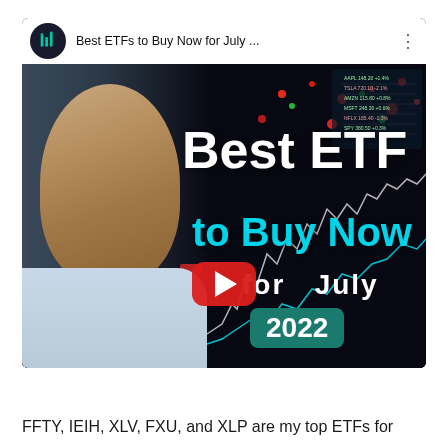[Figure (screenshot): YouTube video thumbnail preview showing a man on the left side against a dark stock-market background. Bold white text reads 'Best ETF' and cyan text reads 'to Buy Now', with 'for July' below and '2022' in a teal pill badge. A red YouTube play button is centered. The video title bar at top reads 'Best ETFs to Buy Now for July ...' with a channel icon.]
FFTY, IEIH, XLV, FXU, and XLP are my top ETFs for